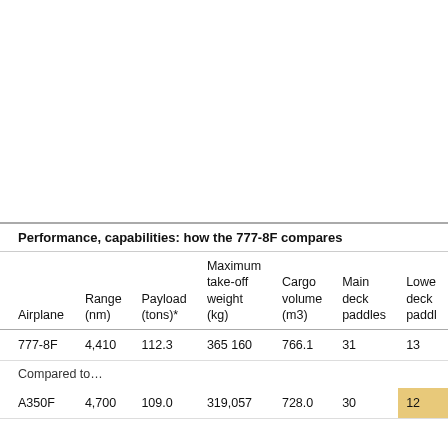Performance, capabilities: how the 777-8F compares
| Airplane | Range (nm) | Payload (tons)* | Maximum take-off weight (kg) | Cargo volume (m3) | Main deck paddles | Lower deck paddles |
| --- | --- | --- | --- | --- | --- | --- |
| 777-8F | 4,410 | 112.3 | 365 160 | 766.1 | 31 | 13 |
| Compared to… |  |  |  |  |  |  |
| A350F | 4,700 | 109.0 | 319,057 | 728.0 | 30 | 12 |